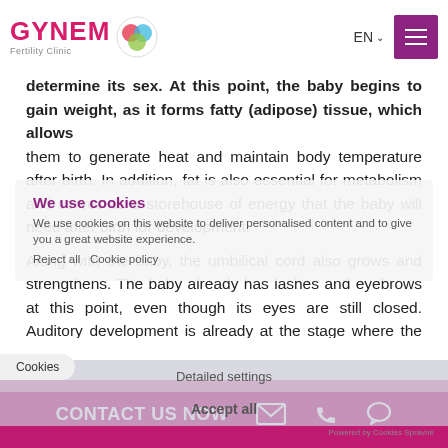GYNEM Fertility Clinic — EN — menu
determine its sex. At this point, the baby begins to gain weight, as it forms fatty (adipose) tissue, which allows them to generate heat and maintain body temperature after birth. In addition, fat is also essential for metabolism and serves as a storehouse of energy that the baby will need after birth for development.
Along with the baby, the umbilical cord also grows and strengthens. The baby already has lashes and eyebrows at this point, even though its eyes are still closed. Auditory development is already at the stage where the baby can perceive and react to sounds in its surroundings. Some women claim that they began to feel the baby's movements in the seventeenth week, others do not begin to notice them until a few weeks later.
CONTACT US NOW — Cookies